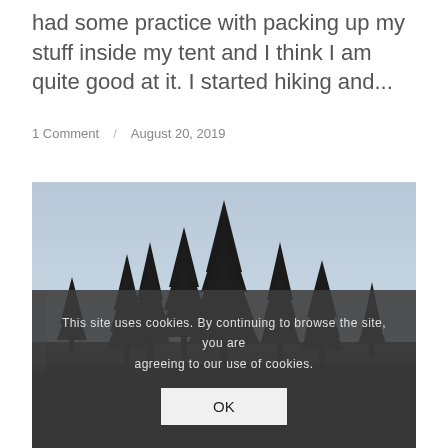had some practice with packing up my stuff inside my tent and I think I am quite good at it. I started hiking and...
1 Comment / August 20, 2019
[Figure (photo): Outdoor nature photo showing silhouettes of tall evergreen/pine trees against a pale blue-grey overcast sky. The foreground is dark with dense tree coverage.]
This site uses cookies. By continuing to browse the site, you are agreeing to our use of cookies.